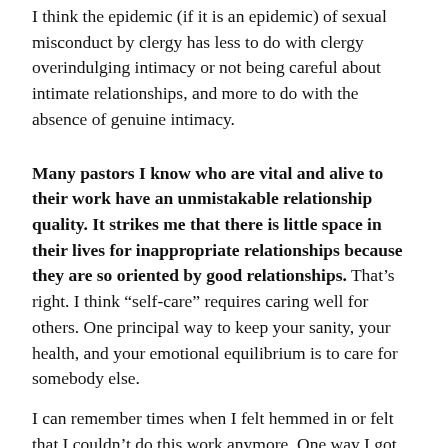I think the epidemic (if it is an epidemic) of sexual misconduct by clergy has less to do with clergy overindulging intimacy or not being careful about intimate relationships, and more to do with the absence of genuine intimacy.
Many pastors I know who are vital and alive to their work have an unmistakable relationship quality. It strikes me that there is little space in their lives for inappropriate relationships because they are so oriented by good relationships. That's right. I think “self-care” requires caring well for others. One principal way to keep your sanity, your health, and your emotional equilibrium is to care for somebody else.
I can remember times when I felt hemmed in or felt that I couldn't do this work anymore. One way I got through those times was to care, in very deliberate ways, for someone else. It's amazing how caring for